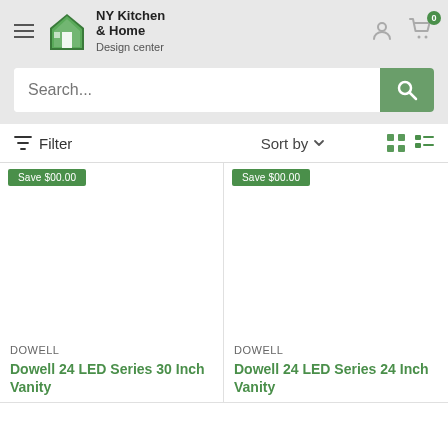[Figure (logo): NY Kitchen & Home Design center logo with green house icon]
Search...
Filter  Sort by  (grid/list view icons)
Save $00.00
Save $00.00
DOWELL
Dowell 24 LED Series 30 Inch Vanity
DOWELL
Dowell 24 LED Series 24 Inch Vanity